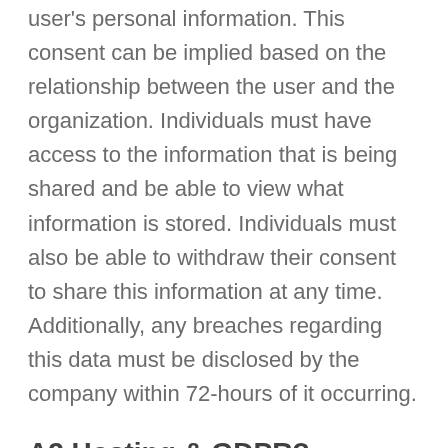user's personal information. This consent can be implied based on the relationship between the user and the organization. Individuals must have access to the information that is being shared and be able to view what information is stored. Individuals must also be able to withdraw their consent to share this information at any time. Additionally, any breaches regarding this data must be disclosed by the company within 72-hours of it occurring.
A2 Hosting & GDPR?
We are hard at work updating our Privacy Policy and Terms of Service for